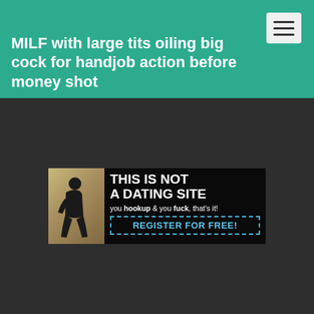MILF with large tits oiling big cock for handjob action before money shot
[Figure (screenshot): Advertisement banner: black background with text 'THIS IS NOT A DATING SITE you hookup & you fuck, that’s it! REGISTER FOR FREE!' alongside a silhouette figure on a decorative background.]